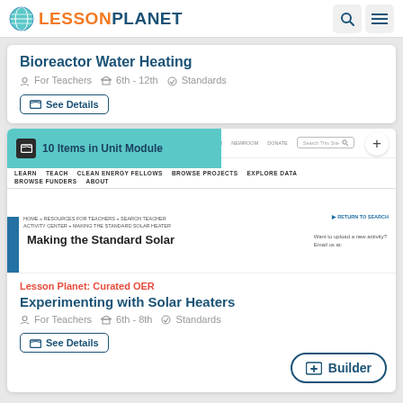LESSON PLANET
Bioreactor Water Heating
For Teachers  6th - 12th  Standards
See Details
[Figure (screenshot): Screenshot of a website showing '10 Items in Unit Module' teal banner, navigation menu with LEARN, TEACH, CLEAN ENERGY FELLOWS, BROWSE PROJECTS, EXPLORE DATA, BROWSE FUNDERS, ABOUT, breadcrumb navigation, and partial page title 'Making the Standard Solar']
Lesson Planet: Curated OER
Experimenting with Solar Heaters
For Teachers  6th - 8th  Standards
See Details
Builder